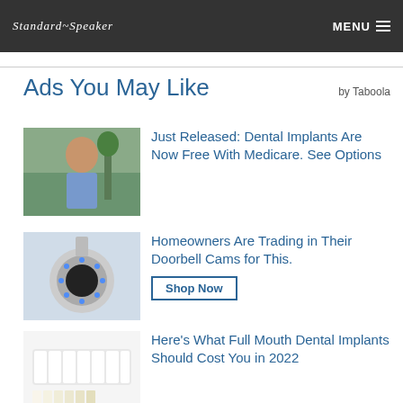Standard~Speaker  MENU
Ads You May Like
by Taboola
[Figure (photo): Woman smiling outdoors near trees]
Just Released: Dental Implants Are Now Free With Medicare. See Options
[Figure (photo): Security camera with blue LED lights]
Homeowners Are Trading in Their Doorbell Cams for This.
Shop Now
[Figure (photo): Close-up of teeth and dental veneer samples]
Here's What Full Mouth Dental Implants Should Cost You in 2022